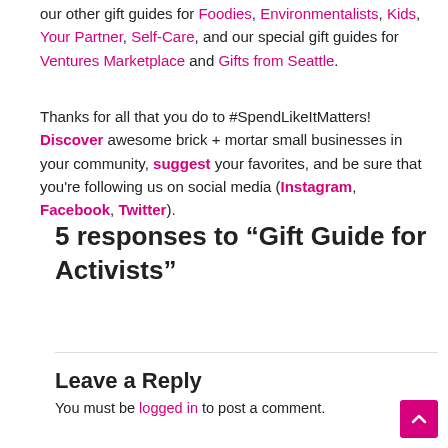our other gift guides for Foodies, Environmentalists, Kids, Your Partner, Self-Care, and our special gift guides for Ventures Marketplace and Gifts from Seattle.
Thanks for all that you do to #SpendLikeItMatters! Discover awesome brick + mortar small businesses in your community, suggest your favorites, and be sure that you're following us on social media (Instagram, Facebook, Twitter).
5 responses to “Gift Guide for Activists”
Leave a Reply
You must be logged in to post a comment.